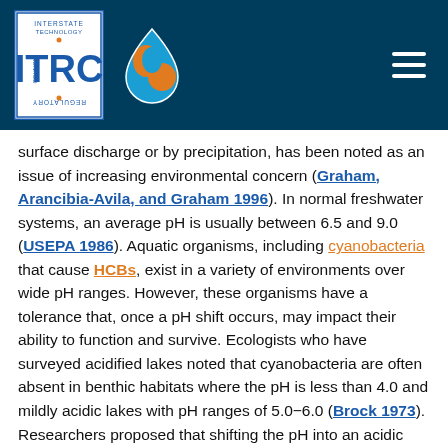ITRC header with logo and navigation
surface discharge or by precipitation, has been noted as an issue of increasing environmental concern (Graham, Arancibia-Avila, and Graham 1996). In normal freshwater systems, an average pH is usually between 6.5 and 9.0 (USEPA 1986). Aquatic organisms, including cyanobacteria that cause HCBs, exist in a variety of environments over wide pH ranges. However, these organisms have a tolerance that, once a pH shift occurs, may impact their ability to function and survive. Ecologists who have surveyed acidified lakes noted that cyanobacteria are often absent in benthic habitats where the pH is less than 4.0 and mildly acidic lakes with pH ranges of 5.0–6.0 (Brock 1973). Researchers proposed that shifting the pH into an acidic environment could control or eliminate cyanobacterial blooms (Klemer et